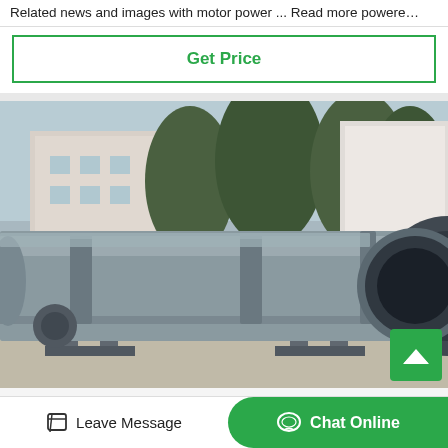Related news and images with motor power ... Read more powere…
Get Price
[Figure (photo): Large industrial rotary drum machine (ball mill or rotary dryer) photographed outdoors, showing a long cylindrical steel drum mounted on supports, with trees and a building visible in the background.]
Leave Message
Chat Online